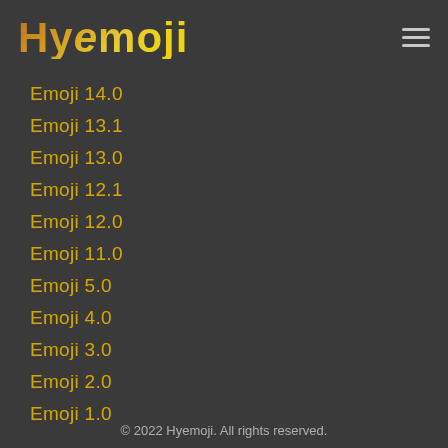Hyemoji
Emoji 14.0
Emoji 13.1
Emoji 13.0
Emoji 12.1
Emoji 12.0
Emoji 11.0
Emoji 5.0
Emoji 4.0
Emoji 3.0
Emoji 2.0
Emoji 1.0
© 2022 Hyemoji. All rights reserved.